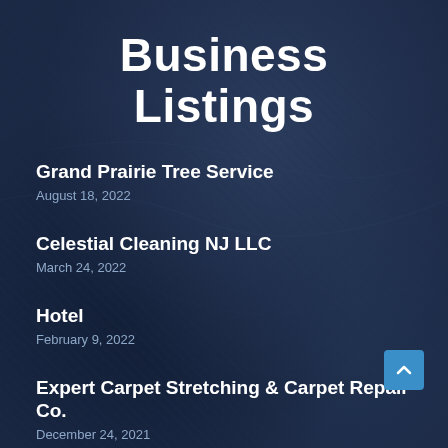Business Listings
Grand Prairie Tree Service
August 18, 2022
Celestial Cleaning NJ LLC
March 24, 2022
Hotel
February 9, 2022
Expert Carpet Stretching & Carpet Repair Co.
December 24, 2021